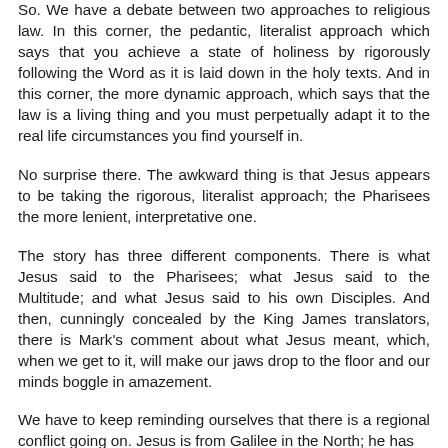So. We have a debate between two approaches to religious law. In this corner, the pedantic, literalist approach which says that you achieve a state of holiness by rigorously following the Word as it is laid down in the holy texts. And in this corner, the more dynamic approach, which says that the law is a living thing and you must perpetually adapt it to the real life circumstances you find yourself in.
No surprise there. The awkward thing is that Jesus appears to be taking the rigorous, literalist approach; the Pharisees the more lenient, interpretative one.
The story has three different components. There is what Jesus said to the Pharisees; what Jesus said to the Multitude; and what Jesus said to his own Disciples. And then, cunningly concealed by the King James translators, there is Mark's comment about what Jesus meant, which, when we get to it, will make our jaws drop to the floor and our minds boggle in amazement.
We have to keep reminding ourselves that there is a regional conflict going on. Jesus is from Galilee in the North; he has